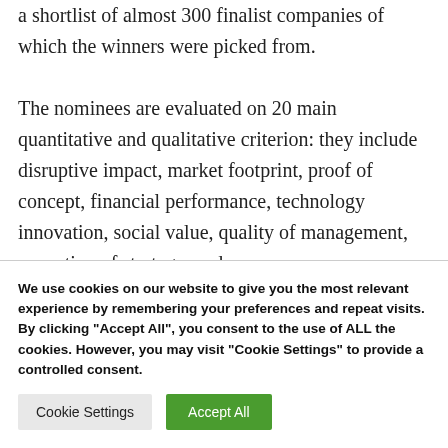a shortlist of almost 300 finalist companies of which the winners were picked from.

The nominees are evaluated on 20 main quantitative and qualitative criterion: they include disruptive impact, market footprint, proof of concept, financial performance, technology innovation, social value, quality of management, execution of strategy, and
We use cookies on our website to give you the most relevant experience by remembering your preferences and repeat visits. By clicking "Accept All", you consent to the use of ALL the cookies. However, you may visit "Cookie Settings" to provide a controlled consent.